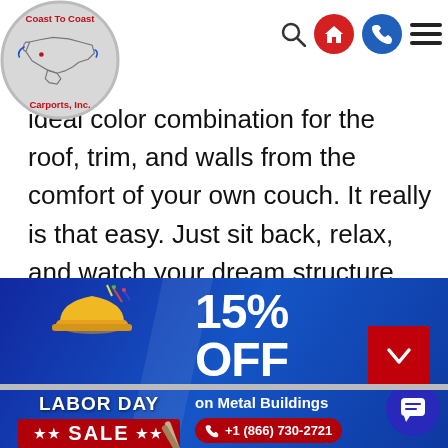[Figure (logo): Coast To Coast Carports, Inc. logo with US map outline in a gray circle]
ideal color combination for the roof, trim, and walls from the comfort of your own couch. It really is that easy. Just sit back, relax, and watch your dream structure come to life on your computer screen. We also offer a 3D Building Estimator to help you design your dream structure from the ground up.
[Figure (infographic): Labor Day Sale banner with 15% OFF on Metal Buildings promotional banner, phone number +1 (866) 730-2721, offer valid in limited states only]